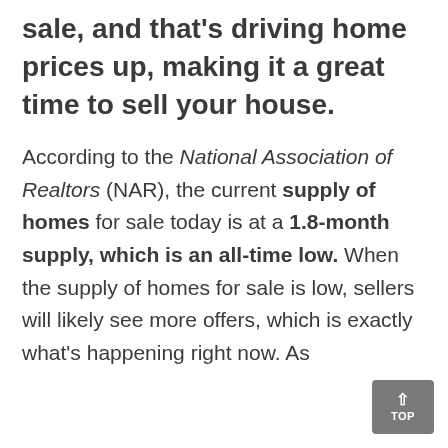sale, and that's driving home prices up, making it a great time to sell your house.
According to the National Association of Realtors (NAR), the current supply of homes for sale today is at a 1.8-month supply, which is an all-time low. When the supply of homes for sale is low, sellers will likely see more offers, which is exactly what's happening right now. As